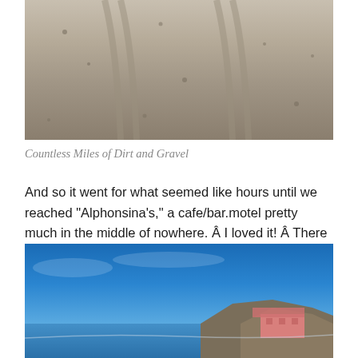[Figure (photo): Close-up photograph of a dirt and gravel road surface, showing tyre tracks and scattered rocks on a dusty brown-grey surface.]
Countless Miles of Dirt and Gravel
And so it went for what seemed like hours until we reached "Alphonsina's," a cafe/bar.motel pretty much in the middle of nowhere. Â I loved it! Â There were 30-40 homes, a dirt landing strip, and the Sea of Cortez. Â I could have stayed here a month...no TV, no internet, nothing but sun, wind, and endless, ever-changing vistas. Â I will be back!
[Figure (photo): Photograph of a coastal scene with a bright blue sky, the Sea of Cortez, and a pink building or motel structure visible along the shoreline with hills in the background.]